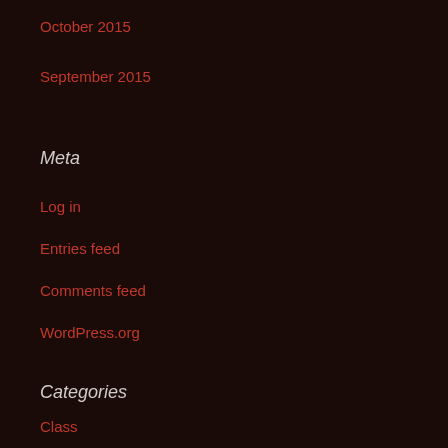October 2015
September 2015
Meta
Log in
Entries feed
Comments feed
WordPress.org
Categories
Class
Economics